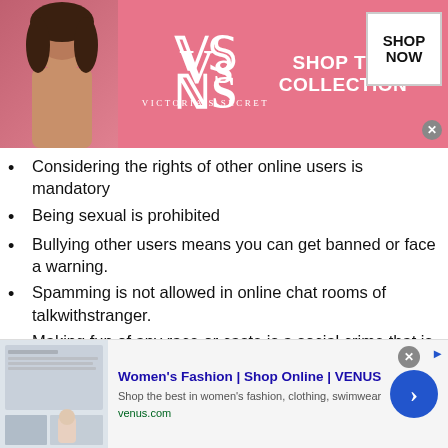[Figure (infographic): Victoria's Secret advertisement banner with pink background, woman model on left, VS logo in center, 'Shop the Collection' text, and 'Shop Now' white box button with close X]
Considering the rights of other online users is mandatory
Being sexual is prohibited
Bullying other users means you can get banned or face a warning.
Spamming is not allowed in online chat rooms of talkwithstranger.
Making fun of any race or caste is a social crime that is prohibited.
Showing appropriate behavior is essential during a talk.
[Figure (infographic): VENUS Women's Fashion online shop advertisement banner with website screenshot thumbnail, title 'Women's Fashion | Shop Online | VENUS', description 'Shop the best in women's fashion, clothing, swimwear', URL 'venus.com', blue circle arrow button, and close X button]